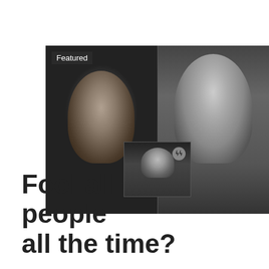[Figure (photo): Composite black-and-white image showing three photos: a dark-haired woman on the left, a blonde woman on the right, and a smaller photo of a man in the center-bottom overlap area with an SS badge symbol visible. A 'Featured' label appears in the top-left corner of the composite image.]
Fool all the people all the time?